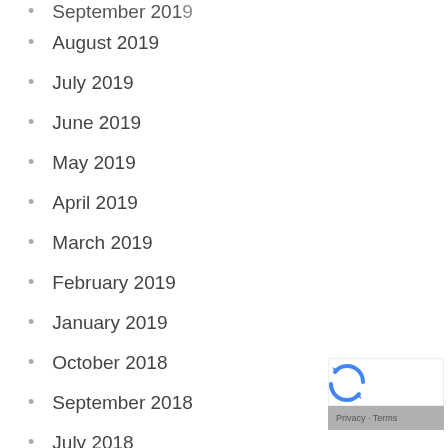September 2019
August 2019
July 2019
June 2019
May 2019
April 2019
March 2019
February 2019
January 2019
October 2018
September 2018
July 2018
June 2018
May 2018